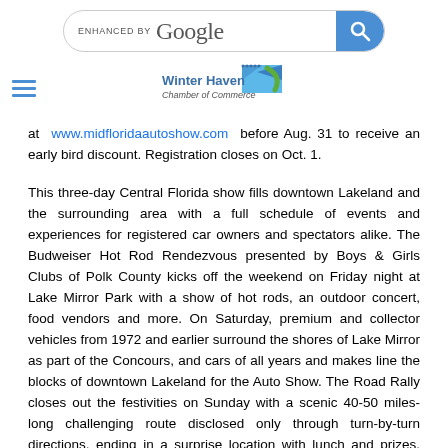ENHANCED BY Google [search bar with search button]
[Figure (logo): Winter Haven Chamber of Commerce logo with blue wave graphic and text]
at www.midfloridaautoshow.com before Aug. 31 to receive an early bird discount. Registration closes on Oct. 1.
This three-day Central Florida show fills downtown Lakeland and the surrounding area with a full schedule of events and experiences for registered car owners and spectators alike. The Budweiser Hot Rod Rendezvous presented by Boys & Girls Clubs of Polk County kicks off the weekend on Friday night at Lake Mirror Park with a show of hot rods, an outdoor concert, food vendors and more. On Saturday, premium and collector vehicles from 1972 and earlier surround the shores of Lake Mirror as part of the Concours, and cars of all years and makes line the blocks of downtown Lakeland for the Auto Show. The Road Rally closes out the festivities on Sunday with a scenic 40-50 miles-long challenging route disclosed only through turn-by-turn directions, ending in a surprise location with lunch and prizes. Anyone is